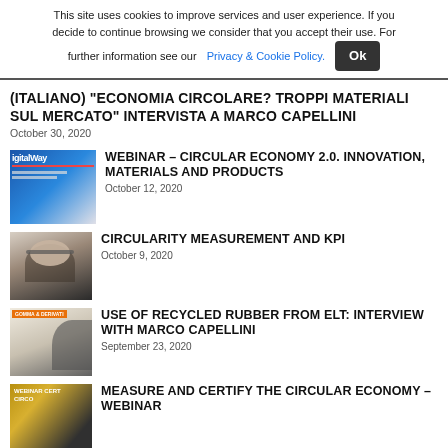This site uses cookies to improve services and user experience. If you decide to continue browsing we consider that you accept their use. For further information see our Privacy & Cookie Policy.   Ok
(Italiano) “ECONOMIA CIRCOLARE? TROPPI MATERIALI SUL MERCATO” INTERVISTA A MARCO CAPELLINI
October 30, 2020
[Figure (photo): Thumbnail image: DigitalWay magazine cover with blue header]
WEBINAR – CIRCULAR ECONOMY 2.0. INNOVATION, MATERIALS AND PRODUCTS
October 12, 2020
[Figure (photo): Thumbnail image: person with glasses in dark clothing]
CIRCULARITY MEASUREMENT AND KPI
October 9, 2020
[Figure (photo): Thumbnail image: magazine cover with a person in profile]
USE OF RECYCLED RUBBER FROM ELT: INTERVIEW WITH MARCO CAPELLINI
September 23, 2020
[Figure (photo): Thumbnail image: webinar cover with colorful circular pattern]
MEASURE AND CERTIFY THE CIRCULAR ECONOMY – WEBINAR